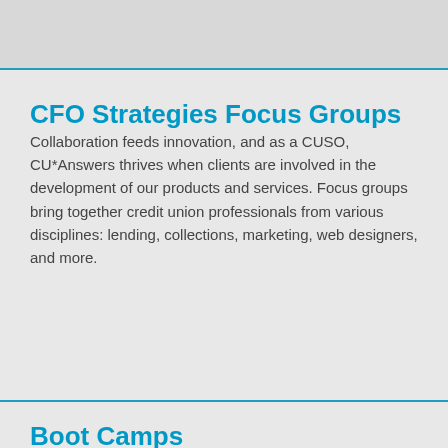CFO Strategies Focus Groups
Collaboration feeds innovation, and as a CUSO, CU*Answers thrives when clients are involved in the development of our products and services. Focus groups bring together credit union professionals from various disciplines: lending, collections, marketing, web designers, and more.
Boot Camps